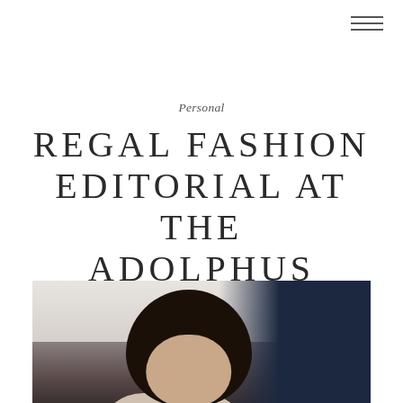≡ (navigation menu icon)
Personal
REGAL FASHION EDITORIAL AT THE ADOLPHUS
[Figure (photo): Fashion editorial photo showing a woman with curly black hair in the foreground, looking directly at camera with a composed expression, wearing a light-colored outfit. A man in a dark navy suit is partially visible behind her to the right. The background is a light neutral/grey tone suggesting an elegant hotel interior.]